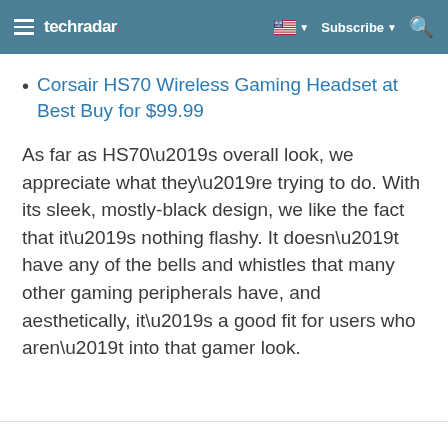techradar | Subscribe
Corsair HS70 Wireless Gaming Headset at Best Buy for $99.99
As far as HS70’s overall look, we appreciate what they’re trying to do. With its sleek, mostly-black design, we like the fact that it’s nothing flashy. It doesn’t have any of the bells and whistles that many other gaming peripherals have, and aesthetically, it’s a good fit for users who aren’t into that gamer look.